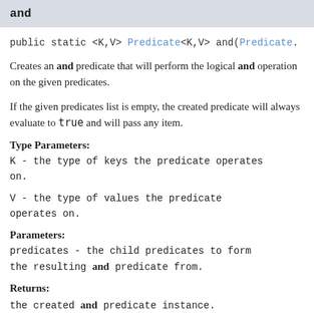and
public static <K,V> Predicate<K,V> and(Predicate.
Creates an and predicate that will perform the logical and operation on the given predicates.
If the given predicates list is empty, the created predicate will always evaluate to true and will pass any item.
Type Parameters:
K - the type of keys the predicate operates on.
V - the type of values the predicate operates on.
Parameters:
predicates - the child predicates to form the resulting and predicate from.
Returns:
the created and predicate instance.